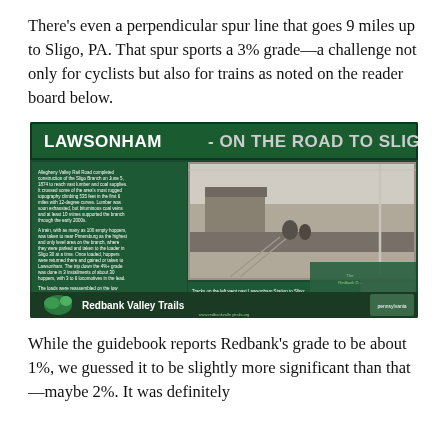There's even a perpendicular spur line that goes 9 miles up to Sligo, PA. That spur sports a 3% grade—a challenge not only for cyclists but also for trains as noted on the reader board below.
[Figure (photo): Interpretive trail sign reading 'LAWSONHAM - ON THE ROAD TO SLIGO' with text about Allegheny Valley Rail Road history, historical black-and-white photos of a train station, and a Redbank Valley Trails logo at the bottom on a dark green background.]
While the guidebook reports Redbank's grade to be about 1%, we guessed it to be slightly more significant than that—maybe 2%. It was definitely